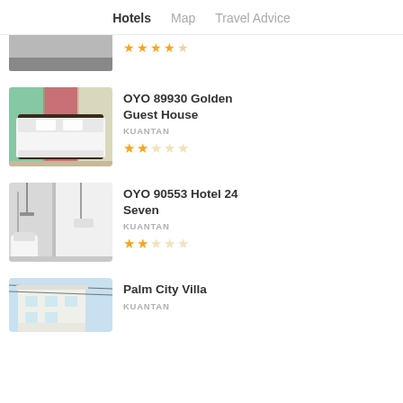Hotels   Map   Travel Advice
[Figure (photo): Partial hotel listing image at top (cropped, grey/dark tones)]
[Figure (photo): Hotel room with double bed, dark headboard, white linens, colorful tiled wall behind]
OYO 89930 Golden Guest House
KUANTAN
★★☆☆☆
[Figure (photo): Bathroom with toilet, sink, shower head, white walls]
OYO 90553 Hotel 24 Seven
KUANTAN
★★☆☆☆
[Figure (photo): Exterior of white building with blue sky, partial view]
Palm City Villa
KUANTAN